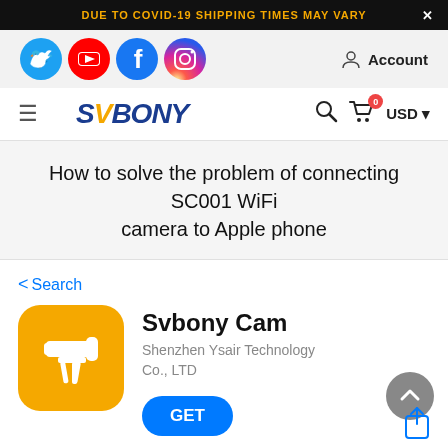DUE TO COVID-19 SHIPPING TIMES MAY VARY
[Figure (screenshot): Social media icons: Twitter (blue bird), YouTube (red play button), Facebook (blue f), Instagram (gradient camera). Account icon with label 'Account'.]
[Figure (logo): SVBONY logo in blue italic bold text with orange V, alongside hamburger menu, search icon, cart with badge 0, and USD dropdown.]
How to solve the problem of connecting SC001 WiFi camera to Apple phone
< Search
[Figure (illustration): Svbony Cam app icon: orange rounded square with white telescope/spotting scope on tripod silhouette.]
Svbony Cam
Shenzhen Ysair Technology Co., LTD
GET